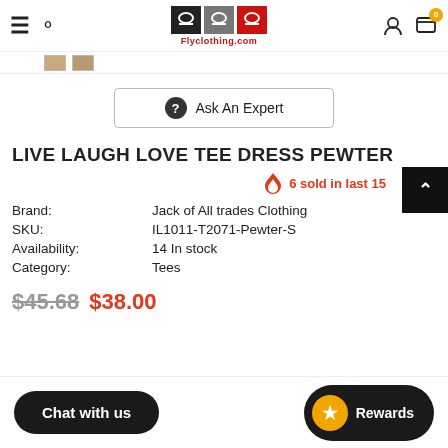Flyclothing.com navigation header with hamburger menu, search, logo, user icon, and cart (0 items)
[Figure (screenshot): Small thumbnail image strip showing partial product images]
Ask An Expert
LIVE LAUGH LOVE TEE DRESS PEWTER
6 sold in last 15
| Label | Value |
| --- | --- |
| Brand: | Jack of All trades Clothing |
| SKU: | IL1011-T2071-Pewter-S |
| Availability: | 14 In stock |
| Category: | Tees |
$45.68  $38.00
Chat with us
Rewards